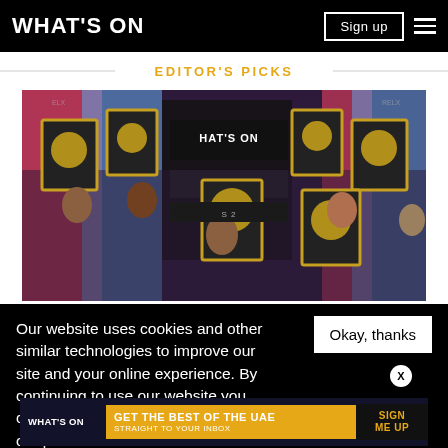WHAT'S ON | Sign up
EDITOR'S PICKS
[Figure (photo): Group photo of people holding framed awards/plaques on a colorful stage with 'What's On Nightlife Awards' banner visible in the background]
Our website uses cookies and other similar technologies to improve our site and your online experience. By continuing to use our website you consent... our pr...
Okay, thanks
[Figure (infographic): Promotional banner: WHAT'S ON - GET THE BEST OF THE UAE STRAIGHT TO YOUR INBOX - SIGN ME UP]